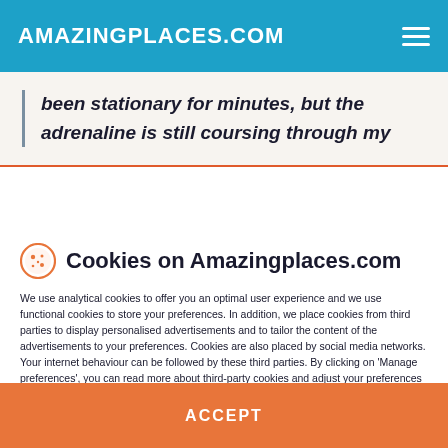AMAZINGPLACES.COM
been stationary for minutes, but the adrenaline is still coursing through my
Cookies on Amazingplaces.com
We use analytical cookies to offer you an optimal user experience and we use functional cookies to store your preferences. In addition, we place cookies from third parties to display personalised advertisements and to tailor the content of the advertisements to your preferences. Cookies are also placed by social media networks. Your internet behaviour can be followed by these third parties. By clicking on 'Manage preferences', you can read more about third-party cookies and adjust your preferences for this. By clicking 'Accept and continue', you agree to the use of all cookies as described in our Privacy Policy and Cookie Policy.
MANAGE PREFERENCES
ACCEPT